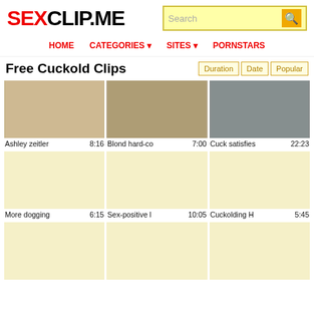SEXCLIP.ME
HOME  CATEGORIES  SITES  PORNSTARS
Free Cuckold Clips
[Figure (screenshot): Thumbnail 1: Ashley zeitler, duration 8:16]
Ashley zeitler  8:16
[Figure (screenshot): Thumbnail 2: Blond hard-co..., duration 7:00]
Blond hard-co  7:00
[Figure (screenshot): Thumbnail 3: Cuck satisfies, duration 22:23]
Cuck satisfies  22:23
[Figure (screenshot): Thumbnail 4: More dogging, duration 6:15]
More dogging  6:15
[Figure (screenshot): Thumbnail 5: Sex-positive l, duration 10:05]
Sex-positive l  10:05
[Figure (screenshot): Thumbnail 6: Cuckolding H, duration 5:45]
Cuckolding H  5:45
[Figure (screenshot): Thumbnail 7: placeholder row 3 left]
[Figure (screenshot): Thumbnail 8: placeholder row 3 center]
[Figure (screenshot): Thumbnail 9: placeholder row 3 right]